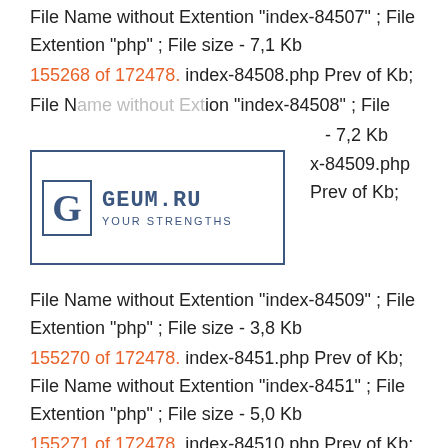File Name without Extention "index-84507" ; File Extention "php" ; File size - 7,1 Kb
155268 of 172478. index-84508.php Prev of Kb;
File Name without Extention "index-84508" ; File size - 7,2 Kb
[Figure (logo): GEUM.RU logo stamp with G letter in box and tagline YOUR STRENGTHS]
x-84509.php Prev of Kb;
File Name without Extention "index-84509" ; File Extention "php" ; File size - 3,8 Kb
155270 of 172478. index-8451.php Prev of Kb; File Name without Extention "index-8451" ; File Extention "php" ; File size - 5,0 Kb
155271 of 172478. index-84510.php Prev of Kb; File Name without Extention "index-84510" ; File Extention "php" ; File size - 3,6 Kb
155272 of 172478. index-84511.php Prev of Kb;
File Name without Extention "index-84511" ; File